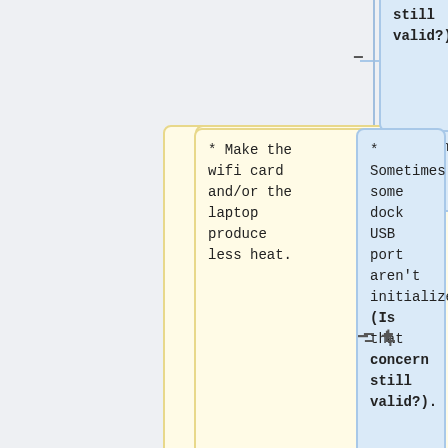[Figure (flowchart): A diff/comparison flowchart showing two columns of content boxes. Left column has yellow boxes with removed items (marked with minus), right column has blue boxes with added items (marked with plus). Items relate to laptop wifi heat, dock USB initialization, and thinkpad_acpi linux kernel module support.]
* Make the wifi card and/or the laptop produce less heat.
* Sometimes some dock USB port aren't initialized (Is that concern still valid?).
* Finish and merge support for thinkpad_acpi linux kernel module
* Sometimes some dock